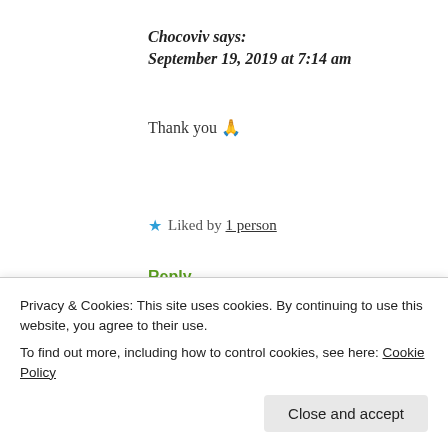Chocoviv says: September 19, 2019 at 7:14 am
Thank you 🙏
★ Liked by 1 person
Reply
Sarika_Pure Reflections says:
Privacy & Cookies: This site uses cookies. By continuing to use this website, you agree to their use.
To find out more, including how to control cookies, see here: Cookie Policy
Close and accept